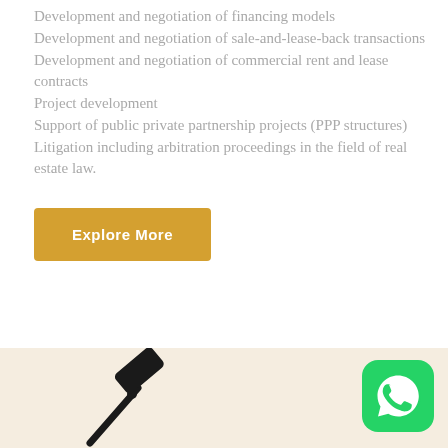Development and negotiation of financing models
Development and negotiation of sale-and-lease-back transactions
Development and negotiation of commercial rent and lease contracts
Project development
Support of public private partnership projects (PPP structures)
Litigation including arbitration proceedings in the field of real estate law.
Explore More
[Figure (photo): Gavel or scale of justice on a warm beige background, partially visible at bottom of page]
[Figure (logo): WhatsApp icon — green rounded square with white phone/speech bubble logo]